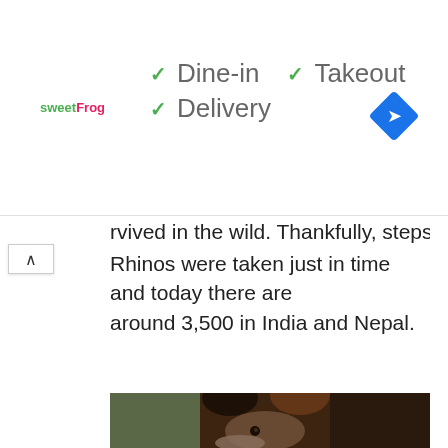[Figure (screenshot): Ad banner showing sweetFrog logo with checkmarks for Dine-in, Takeout, Delivery, and a blue navigation icon]
rvived in the wild. Thankfully, steps to protect the Rhinos were taken just in time and today there are around 3,500 in India and Nepal.
[Figure (photo): Close-up photograph of an okapi face, showing large brown ears, dark brown body, and distinctive facial markings with blurred green forest background]